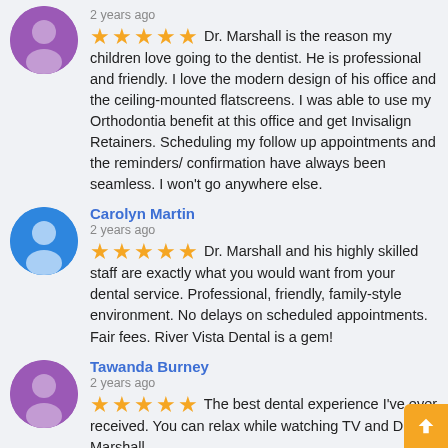[Figure (illustration): Purple avatar icon (user silhouette) for first reviewer]
2 years ago
Dr. Marshall is the reason my children love going to the dentist. He is professional and friendly. I love the modern design of his office and the ceiling-mounted flatscreens. I was able to use my Orthodontia benefit at this office and get Invisalign Retainers. Scheduling my follow up appointments and the reminders/ confirmation have always been seamless. I won't go anywhere else.
Carolyn Martin
2 years ago
Dr. Marshall and his highly skilled staff are exactly what you would want from your dental service. Professional, friendly, family-style environment. No delays on scheduled appointments. Fair fees. River Vista Dental is a gem!
Tawanda Burney
2 years ago
The best dental experience I've ever received. You can relax while watching TV and Dr. Marshall...